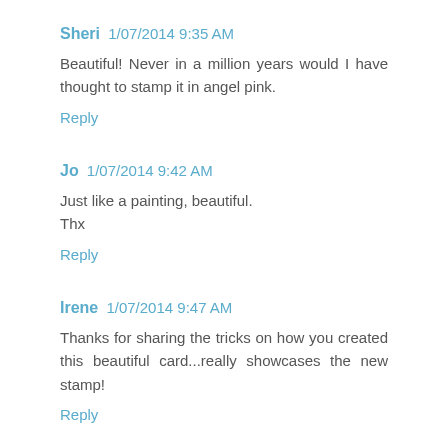Sheri 1/07/2014 9:35 AM
Beautiful! Never in a million years would I have thought to stamp it in angel pink.
Reply
Jo 1/07/2014 9:42 AM
Just like a painting, beautiful.
Thx
Reply
Irene 1/07/2014 9:47 AM
Thanks for sharing the tricks on how you created this beautiful card...really showcases the new stamp!
Reply